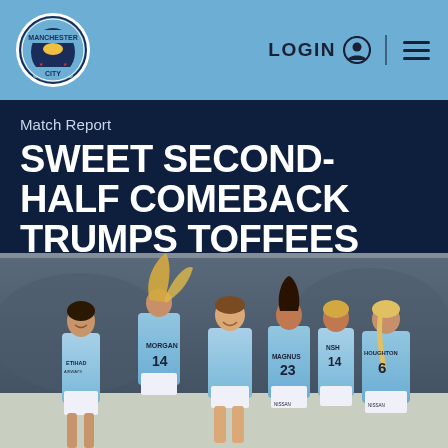Manchester City — LOGIN ☰
Match Report
SWEET SECOND-HALF COMEBACK TRUMPS TOFFEES
[Figure (photo): Manchester City Women players celebrating in light blue kits (MORGAN 14, MAGNUS 23, HOUGHTON 6 visible), hugging each other on a football pitch]